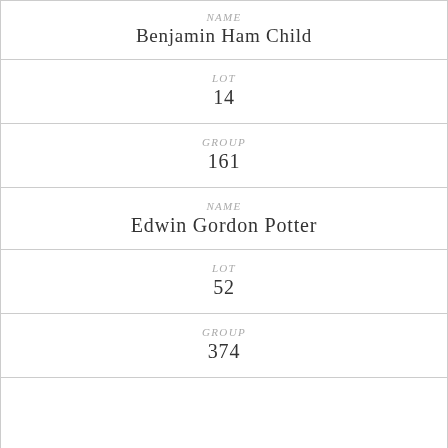| NAME | Benjamin Ham Child |
| LOT | 14 |
| GROUP | 161 |
| NAME | Edwin Gordon Potter |
| LOT | 52 |
| GROUP | 374 |